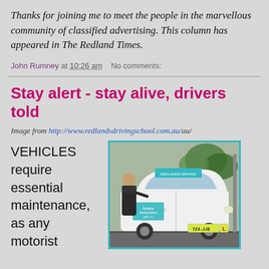Thanks for joining me to meet the people in the marvellous community of classified advertising. This column has appeared in The Redland Times.
John Rumney at 10:26 am   No comments:
Stay alert - stay alive, drivers told
Image from http://www.redlandsdrivingschool.com.au/
[Figure (photo): A man standing beside a white Redlands Driving School car with an L plate, parked on a road with trees in the background.]
VEHICLES require essential maintenance, as any motorist